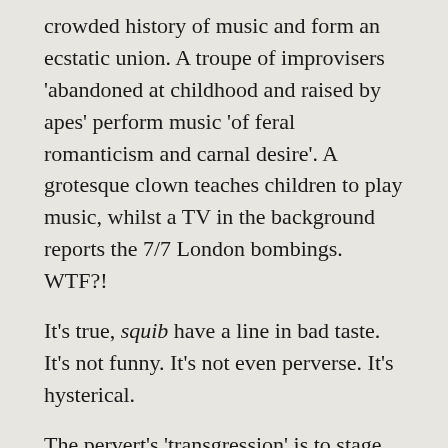crowded history of music and form an ecstatic union. A troupe of improvisers 'abandoned at childhood and raised by apes' perform music 'of feral romanticism and carnal desire'. A grotesque clown teaches children to play music, whilst a TV in the background reports the 7/7 London bombings. WTF?!
It's true, squib have a line in bad taste. It's not funny. It's not even perverse. It's hysterical.
The pervert's 'transgression' is to stage the secret fantasies – the guilty pleasures and kitsch tastes, symphonic pop and air guitar – that sustain public and cultural life. He plays the game by highlighting its hidden rules and (genre) conventions, taking musical style at face value. Only acknowledged culture and its disenchantment are permitted.
In psychoanalysis, fantasy is the illusion we create to